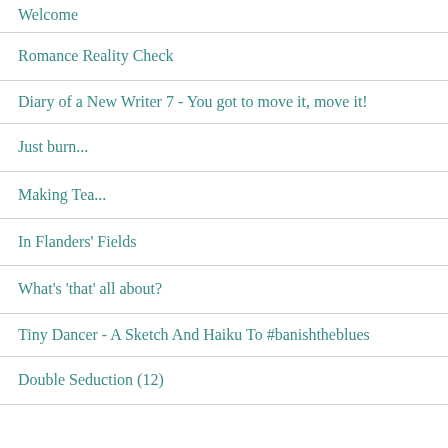Welcome
Romance Reality Check
Diary of a New Writer 7 - You got to move it, move it!
Just burn...
Making Tea...
In Flanders' Fields
What's 'that' all about?
Tiny Dancer - A Sketch And Haiku To #banishtheblues
Double Seduction (12)